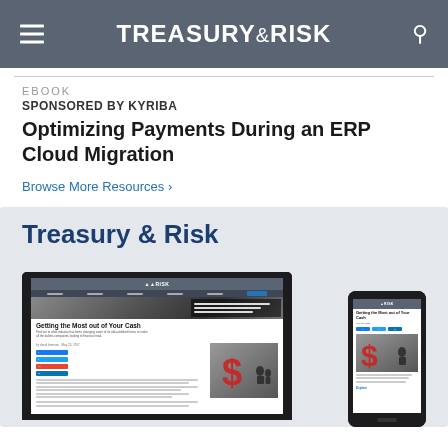TREASURY & RISK
EBOOK
SPONSORED BY KYRIBA
Optimizing Payments During an ERP Cloud Migration
Browse More Resources ›
[Figure (screenshot): Treasury & Risk website screenshot shown on laptop and mobile phone devices. The laptop screen shows an article titled 'Getting the Most out of Your Cash' with a dollar sign graphic and article text. A mobile phone shows the same content in mobile view.]